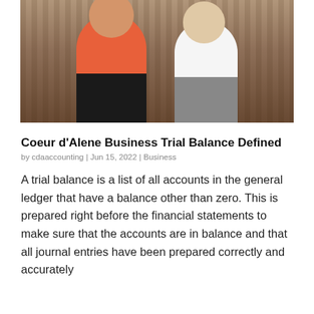[Figure (photo): Two professionals (a man in an orange shirt and a woman in a white shirt) standing with arms crossed in front of a bookshelf background]
Coeur d'Alene Business Trial Balance Defined
by cdaaccounting | Jun 15, 2022 | Business
A trial balance is a list of all accounts in the general ledger that have a balance other than zero. This is prepared right before the financial statements to make sure that the accounts are in balance and that all journal entries have been prepared correctly and accurately